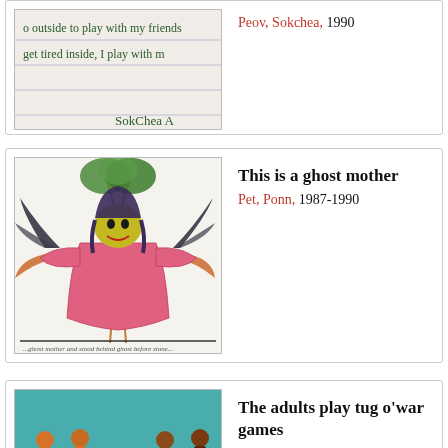[Figure (photo): Child's handwritten text on lined paper, partially visible. Text reads: 'o outside to play with my friends', 'get tired inside, I play with m', and 'SokChea A', '(8']
Peov, Sokchea, 1990
[Figure (illustration): Child's drawing of a ghost mother figure in a pink dress with arms outstretched, standing in front of a tree with orange roots, dark bird-like wings on sides, yellow-green face, dark hair.]
This is a ghost mother
Pet, Ponn, 1987-1990
[Figure (illustration): Child's drawing of adults playing tug o'war games, with teal/turquoise background and orange/brown figures.]
The adults play tug o'war games